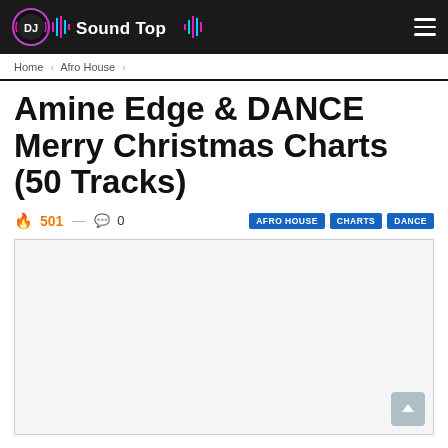DJ Sound Top
Home › Afro House ›
Amine Edge & DANCE Merry Christmas Charts (50 Tracks)
🔥 501 — 💬 0   AFRO HOUSE   CHARTS   DANCE
[Figure (other): Large rectangular image/advertisement placeholder with light gray background]